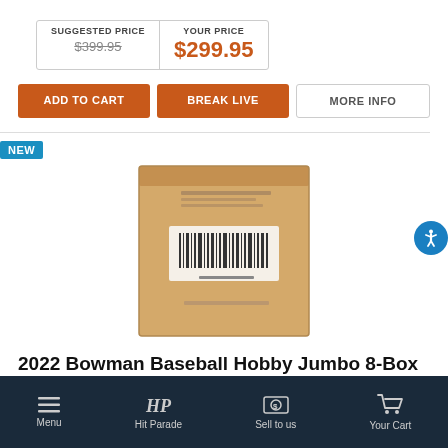| SUGGESTED PRICE | YOUR PRICE |
| --- | --- |
| $399.95 | $299.95 |
ADD TO CART | BREAK LIVE | MORE INFO
NEW
[Figure (photo): Product photo of a brown cardboard box (2022 Bowman Baseball Hobby Jumbo 8-Box Case) with barcode label on top]
2022 Bowman Baseball Hobby Jumbo 8-Box Case
Menu | Hit Parade | Sell to us | Your Cart